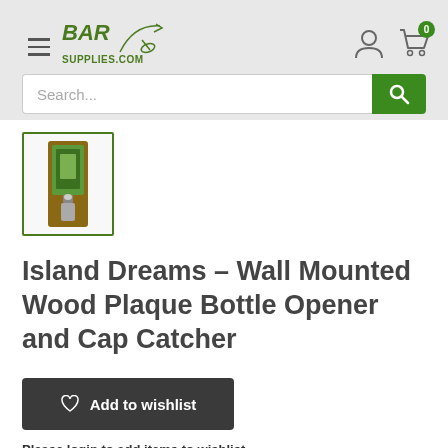BAR SUPPLIES.COM
[Figure (screenshot): Product thumbnail image of Island Dreams wall mounted wood plaque bottle opener and cap catcher, shown in a green-bordered thumbnail box]
Island Dreams – Wall Mounted Wood Plaque Bottle Opener and Cap Catcher
Add to wishlist
Please login to add items to wishlist